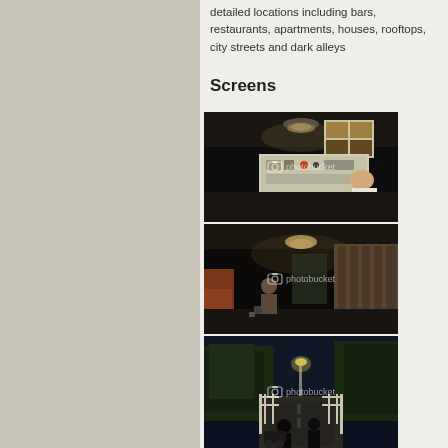detailed locations including bars, restaurants, apartments, houses, rooftops, city streets and dark alleys
Screens
[Figure (screenshot): Video game screenshot showing a dark room with a large white control panel/console unit and a character in a white shirt viewed from above]
[Figure (screenshot): Video game screenshot showing a dark interior room with wooden walls, a ceiling light, a character, and various objects on the floor]
[Figure (screenshot): Video game screenshot showing an outdoor night scene with trees, a road, a street light, and two silhouetted figures]